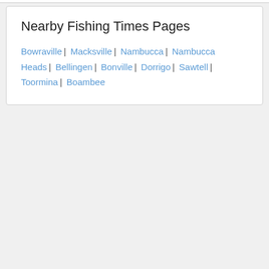Nearby Fishing Times Pages
Bowraville | Macksville | Nambucca | Nambucca Heads | Bellingen | Bonville | Dorrigo | Sawtell | Toormina | Boambee